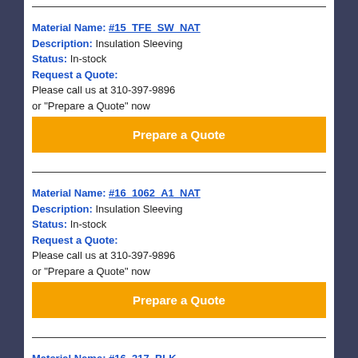Material Name: #15_TFE_SW_NAT
Description: Insulation Sleeving
Status: In-stock
Request a Quote:
Please call us at 310-397-9896
or "Prepare a Quote" now
Prepare a Quote
Material Name: #16_1062_A1_NAT
Description: Insulation Sleeving
Status: In-stock
Request a Quote:
Please call us at 310-397-9896
or "Prepare a Quote" now
Prepare a Quote
Material Name: #16_317_BLK
Description: Insulation Sleeving
Status: In-stock
Request a Quote: